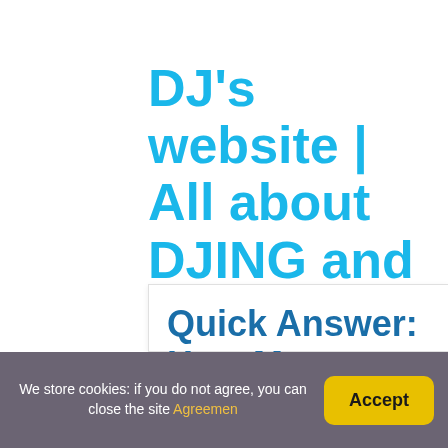DJ's website | All about DJING and music
Quick Answer: How Mu Charge?
We store cookies: if you do not agree, you can close the site Agreemen